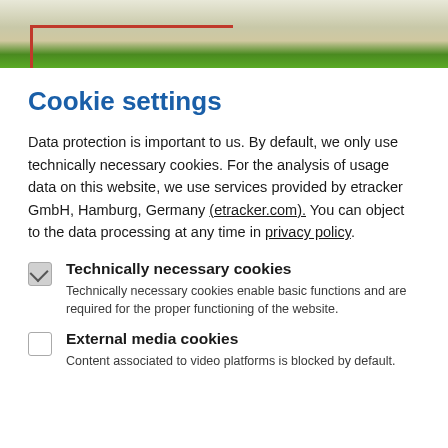[Figure (photo): Partial image of what appears to be books or physical objects with green and red colors visible, cropped at the top of the page.]
Cookie settings
Data protection is important to us. By default, we only use technically necessary cookies. For the analysis of usage data on this website, we use services provided by etracker GmbH, Hamburg, Germany (etracker.com). You can object to the data processing at any time in privacy policy.
Technically necessary cookies
Technically necessary cookies enable basic functions and are required for the proper functioning of the website.
External media cookies
Content associated to video platforms is blocked by default.